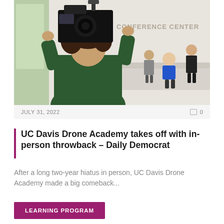[Figure (photo): A student filming with a professional camera at the UC Davis Conference Center. The person in the foreground holds a camera rig overhead, with their back to the camera. In the background, three people stand/sit near a conference center reception desk.]
JULY 31, 2022    0
UC Davis Drone Academy takes off with in-person throwback – Daily Democrat
After a long two-year hiatus in person, UC Davis Drone Academy made a big comeback...
LEARNING PROGRAM